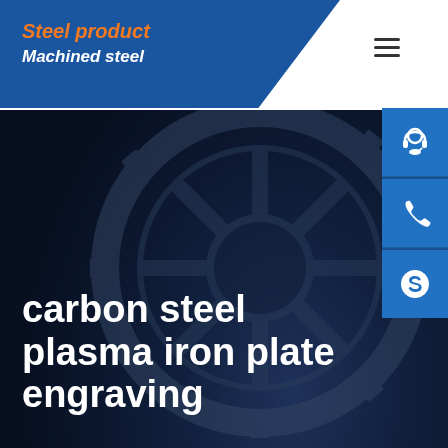Steel product / Machined steel
[Figure (screenshot): Hero banner with dark blue steel background showing mechanical gear/wheel imagery]
carbon steel plasma iron plate engraving
Home / carbon steel plasma iron plate engraving